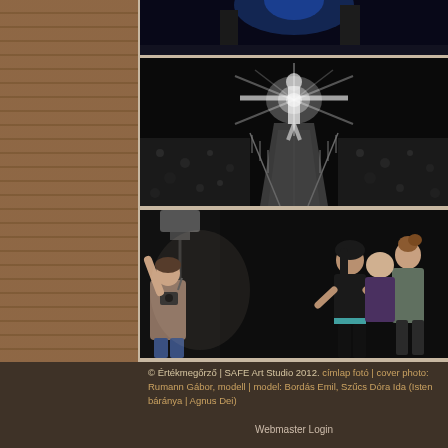[Figure (photo): Partial top photo: dark scene with figures and blue/white lighting from above]
[Figure (photo): Black and white dramatic photo of a person with arms outstretched, light burst from chest, standing between rocky/rubble-strewn paths with railings, shot at night]
[Figure (photo): Color photo of photography studio scene: woman on left with camera on tripod adjusting light, three people on right side including a bald person looking down, against black backdrop]
© Értékmegőrző | SAFE Art Studio 2012. címlap fotó | cover photo: Rumann Gábor, modell | model: Bordás Emil, Szűcs Dóra Ida (Isten báránya | Agnus Dei)
Webmaster Login